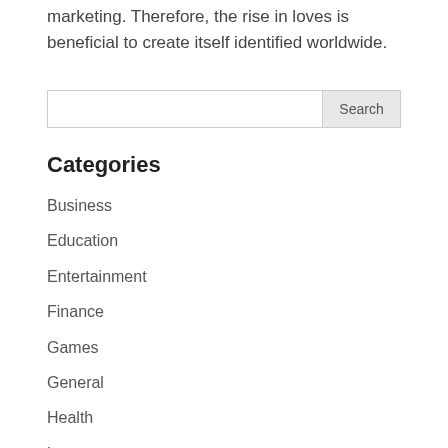marketing. Therefore, the rise in loves is beneficial to create itself identified worldwide.
Categories
Business
Education
Entertainment
Finance
Games
General
Health
Law
Medical